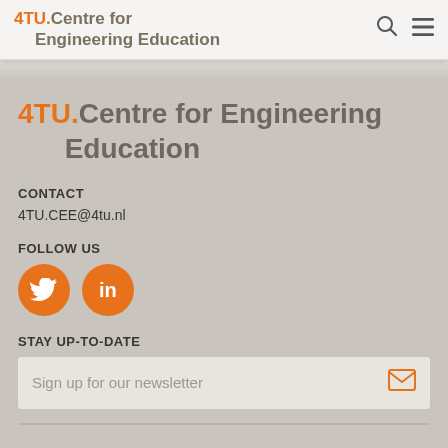4TU.Centre for Engineering Education
4TU.Centre for Engineering Education
CONTACT
4TU.CEE@4tu.nl
FOLLOW US
[Figure (other): Twitter and LinkedIn social media icon buttons (orange circles with white icons)]
STAY UP-TO-DATE
Sign up for our newsletter